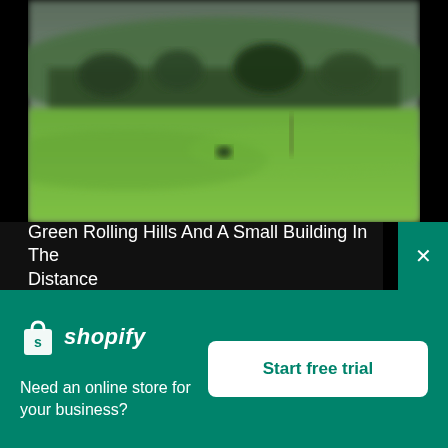[Figure (photo): A blurred outdoor landscape photo showing green rolling hills, a dark treeline in the middle distance, and an overcast sky. There appears to be a small dark animal or object in the field and a fence post visible.]
Green Rolling Hills And A Small Building In The Distance
[Figure (logo): Shopify logo: white shopping bag icon with an 's' on it, followed by italic bold white text 'shopify']
Need an online store for your business?
Start free trial